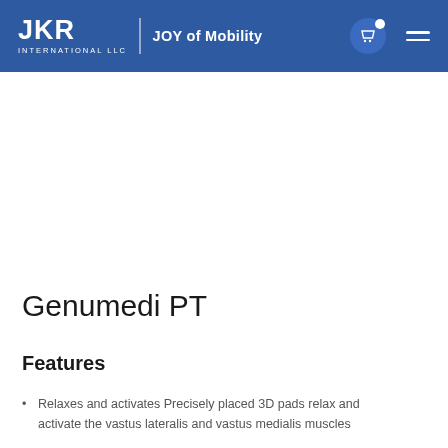JKR INTERNATIONAL LLC | JOY of Mobility
Genumedi PT
Features
Relaxes and activates Precisely placed 3D pads relax and activate the vastus lateralis and vastus medialis muscles